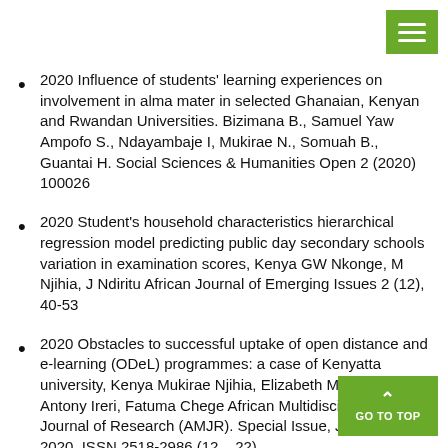2020 Influence of students' learning experiences on involvement in alma mater in selected Ghanaian, Kenyan and Rwandan Universities. Bizimana B., Samuel Yaw Ampofo S., Ndayambaje I, Mukirae N., Somuah B., Guantai H. Social Sciences & Humanities Open 2 (2020) 100026
2020 Student's household characteristics hierarchical regression model predicting public day secondary schools variation in examination scores, Kenya GW Nkonge, M Njihia, J Ndiritu African Journal of Emerging Issues 2 (12), 40-53
2020 Obstacles to successful uptake of open distance and e-learning (ODeL) programmes: a case of Kenyatta university, Kenya Mukirae Njihia, Elizabeth Mwaniki, Antony Ireri, Fatuma Chege African Multidisciplinary Journal of Research (AMJR). Special Issue, January 2020. ISSN 2518-2986 (12 – 22)
2020 Determinants of Attendance in Alternative Primary in Mathare Slum, Nairobi, Kenya M Njihia, WG Nkonge, J Rwandan Journal of Education 5 (1)